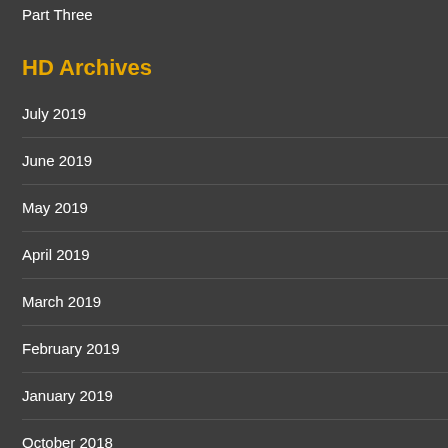Part Three
HD Archives
July 2019
June 2019
May 2019
April 2019
March 2019
February 2019
January 2019
October 2018
September 2018
August 2018
July 2018
June 2018